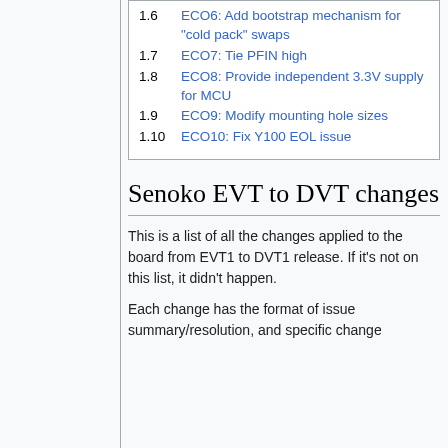1.6 ECO6: Add bootstrap mechanism for "cold pack" swaps
1.7 ECO7: Tie PFIN high
1.8 ECO8: Provide independent 3.3V supply for MCU
1.9 ECO9: Modify mounting hole sizes
1.10 ECO10: Fix Y100 EOL issue
Senoko EVT to DVT changes
This is a list of all the changes applied to the board from EVT1 to DVT1 release. If it's not on this list, it didn't happen.
Each change has the format of issue summary/resolution, and specific change